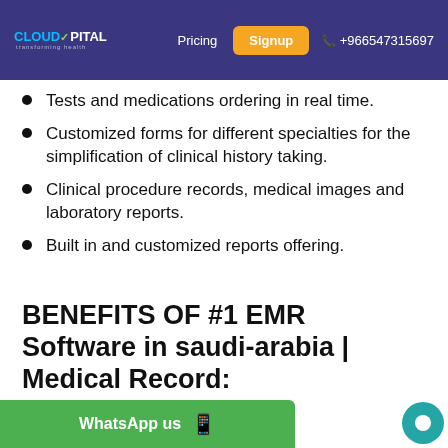CloudPital | Pricing | Signup | +966547315697
Tests and medications ordering in real time.
Customized forms for different specialties for the simplification of clinical history taking.
Clinical procedure records, medical images and laboratory reports.
Built in and customized reports offering.
BENEFITS OF #1 EMR Software in saudi-arabia | Medical Record:
WhatsApp us